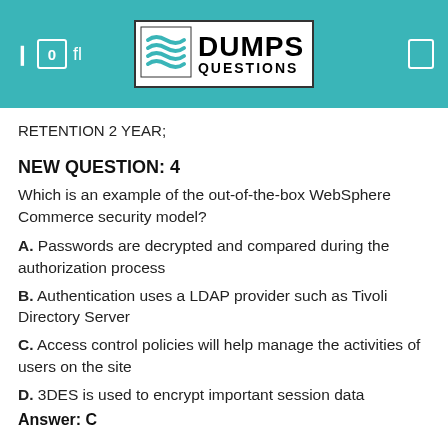DUMPS QUESTIONS
RETENTION 2 YEAR;
NEW QUESTION: 4
Which is an example of the out-of-the-box WebSphere Commerce security model?
A. Passwords are decrypted and compared during the authorization process
B. Authentication uses a LDAP provider such as Tivoli Directory Server
C. Access control policies will help manage the activities of users on the site
D. 3DES is used to encrypt important session data
Answer: C